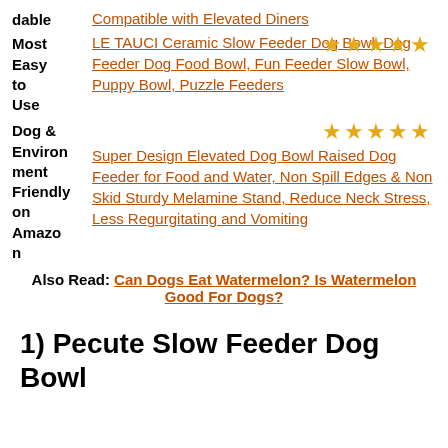dable Compatible with Elevated Diners
Most Easy to Use LE TAUCI Ceramic Slow Feeder Dog Bowl, Dog Feeder Dog Food Bowl, Fun Feeder Slow Bowl, Puppy Bowl, Puzzle Feeders
Dog & Environment Friendly on Amazon Super Design Elevated Dog Bowl Raised Dog Feeder for Food and Water, Non Spill Edges & Non Skid Sturdy Melamine Stand, Reduce Neck Stress, Less Regurgitating and Vomiting
Also Read: Can Dogs Eat Watermelon? Is Watermelon Good For Dogs?
1) Pecute Slow Feeder Dog Bowl